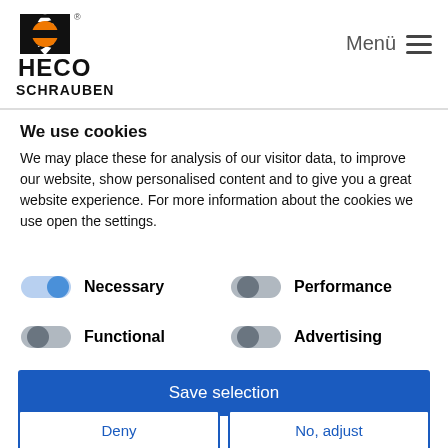[Figure (logo): HECO Schrauben logo with orange circle emblem above bold text HECO SCHRAUBEN]
Menü ≡
We use cookies
We may place these for analysis of our visitor data, to improve our website, show personalised content and to give you a great website experience. For more information about the cookies we use open the settings.
Necessary
Performance
Functional
Advertising
Save selection
Deny
No, adjust